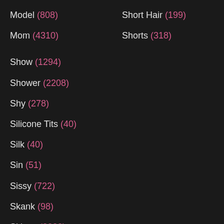Model (808)
Short Hair (199)
Mom (4310)
Shorts (318)
Show (1294)
Shower (2208)
Shy (278)
Silicone Tits (40)
Silk (40)
Sin (51)
Sissy (722)
Skank (98)
Skinny (3228)
Skirt (2431)
Slapping (208)
Slave (2316)
Slim (622)